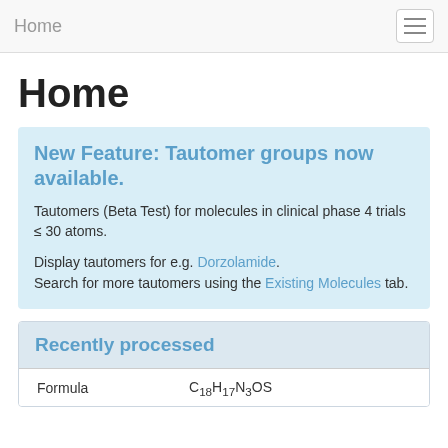Home
Home
New Feature: Tautomer groups now available.
Tautomers (Beta Test) for molecules in clinical phase 4 trials ≤ 30 atoms.
Display tautomers for e.g. Dorzolamide. Search for more tautomers using the Existing Molecules tab.
Recently processed
| Formula | C18H17N3OS |
| --- | --- |